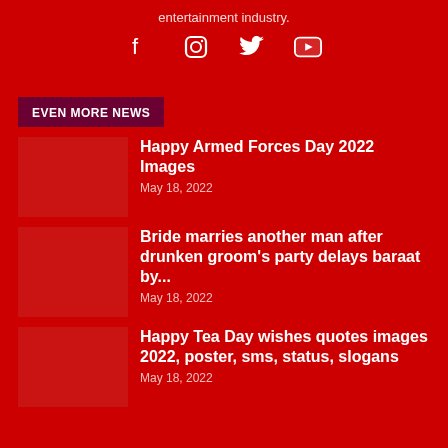entertainment industry.
[Figure (infographic): Social media icons: Facebook, Instagram, Twitter, YouTube]
EVEN MORE NEWS
Happy Armed Forces Day 2022 Images
May 18, 2022
Bride marries another man after drunken groom's party delays baraat by...
May 18, 2022
Happy Tea Day wishes quotes images 2022, poster, sms, status, slogans
May 18, 2022